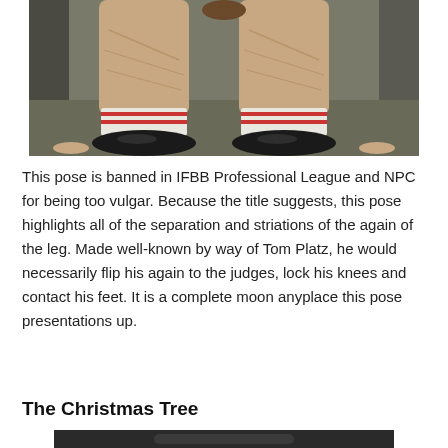[Figure (photo): Close-up photo of muscular legs from behind, wearing white striped socks and black shoes, leaning forward on fingertips on a surface.]
This pose is banned in IFBB Professional League and NPC for being too vulgar. Because the title suggests, this pose highlights all of the separation and striations of the again of the leg. Made well-known by way of Tom Platz, he would necessarily flip his again to the judges, lock his knees and contact his feet. It is a complete moon anyplace this pose presentations up.
The Christmas Tree
[Figure (photo): Partial photo visible at the bottom of the page, appears to show a dark image.]